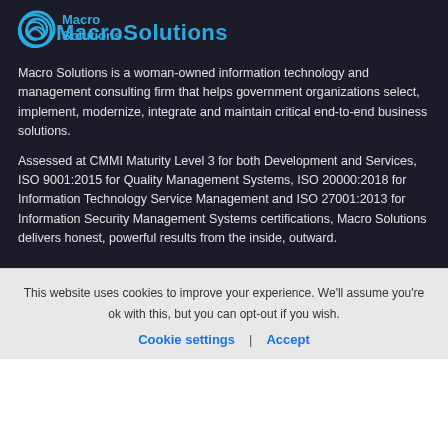[Figure (logo): MacroSolutions logo with circular icon and blue text on dark background]
Macro Solutions is a woman-owned information technology and management consulting firm that helps government organizations select, implement, modernize, integrate and maintain critical end-to-end business solutions.
Assessed at CMMI Maturity Level 3 for both Development and Services, ISO 9001:2015 for Quality Management Systems, ISO 20000:2018 for Information Technology Service Management and ISO 27001:2013 for Information Security Management Systems certifications, Macro Solutions delivers honest, powerful results from the inside, outward.
This website uses cookies to improve your experience. We'll assume you're ok with this, but you can opt-out if you wish.
Cookie settings | Accept